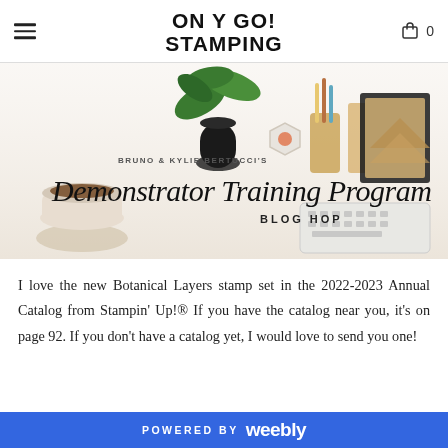ON Y GO! STAMPING
[Figure (illustration): Banner image for Bruno & Kylie Bertucci's Demonstrator Training Program Blog Hop, showing a desk scene with a plant, coffee cup, keyboard, and stationery items, with script and sans-serif text overlay.]
I love the new Botanical Layers stamp set in the 2022-2023 Annual Catalog from Stampin' Up!® If you have the catalog near you, it's on page 92. If you don't have a catalog yet, I would love to send you one!
POWERED BY weebly